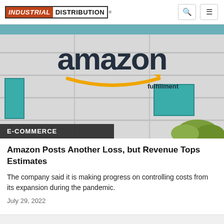INDUSTRIAL DISTRIBUTION
[Figure (photo): Amazon Fulfillment building exterior with large Amazon logo and smile arrow, teal windows visible, trees in background]
E-COMMERCE
Amazon Posts Another Loss, but Revenue Tops Estimates
The company said it is making progress on controlling costs from its expansion during the pandemic.
July 29, 2022